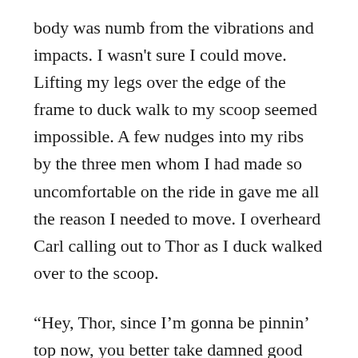body was numb from the vibrations and impacts. I wasn't sure I could move. Lifting my legs over the edge of the frame to duck walk to my scoop seemed impossible. A few nudges into my ribs by the three men whom I had made so uncomfortable on the ride in gave me all the reason I needed to move. I overheard Carl calling out to Thor as I duck walked over to the scoop.
“Hey, Thor, since I’m gonna be pinnin’ top now, you better take damned good care of that ram car. It was my baby.”
I went through the normal routine of my shift. Cleaning the feeder, checking the roof bolt supplies, and hanging curtain as necessary. On one trip from the working face